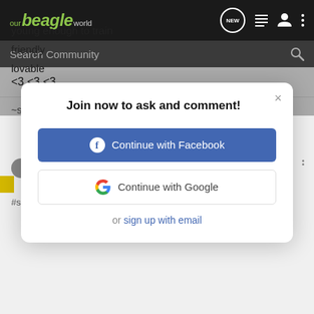[Figure (screenshot): Our Beagle World community website navigation bar with logo and icons]
Search Community
<3 <3 <3
~s
[Figure (screenshot): Modal dialog: Join now to ask and comment! with Continue with Facebook and Continue with Google buttons, and or sign up with email link]
young enough to train
friendly
lovable